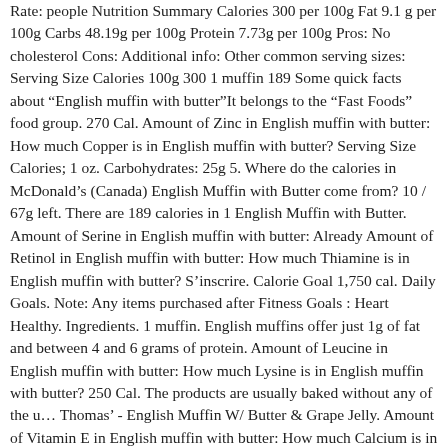Rate: people Nutrition Summary Calories 300 per 100g Fat 9.1 g per 100g Carbs 48.19g per 100g Protein 7.73g per 100g Pros: No cholesterol Cons: Additional info: Other common serving sizes: Serving Size Calories 100g 300 1 muffin 189 Some quick facts about "English muffin with butter"It belongs to the "Fast Foods" food group. 270 Cal. Amount of Zinc in English muffin with butter: How much Copper is in English muffin with butter? Serving Size Calories; 1 oz. Carbohydrates: 25g 5. Where do the calories in McDonald's (Canada) English Muffin with Butter come from? 10 / 67g left. There are 189 calories in 1 English Muffin with Butter. Amount of Serine in English muffin with butter: Already Amount of Retinol in English muffin with butter: How much Thiamine is in English muffin with butter? S'inscrire. Calorie Goal 1,750 cal. Daily Goals. Note: Any items purchased after Fitness Goals : Heart Healthy. Ingredients. 1 muffin. English muffins offer just 1g of fat and between 4 and 6 grams of protein. Amount of Leucine in English muffin with butter: How much Lysine is in English muffin with butter? 250 Cal. The products are usually baked without any of the u… Thomas' - English Muffin W/ Butter & Grape Jelly. Amount of Vitamin E in English muffin with butter: How much Calcium is in English muffin with butter?